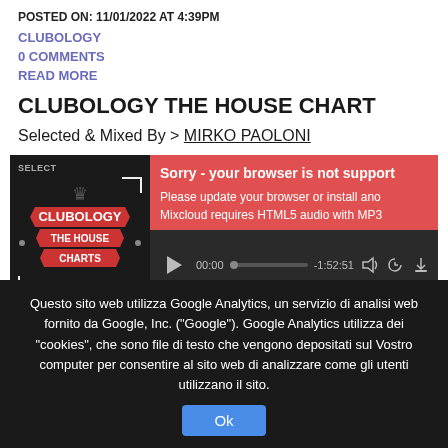POSTED ON: 11/01/2022 AT 4:39PM
CLUBOLOGY
0 COMMENTS
READ MORE
CLUBOLOGY THE HOUSE CHART
Selected & Mixed By > MIRKO PAOLONI
[Figure (screenshot): Mixcloud audio player widget showing Clubology The House Charts artwork on the left, a red error overlay reading 'Sorry - your browser is not support', 'Please update your browser or install ano', 'Mixcloud requires HTML5 audio with MP3', and player controls at the bottom showing 00:00 progress bar -1:52:51]
Questo sito web utilizza Google Analytics, un servizio di analisi web fornito da Google, Inc. ("Google"). Google Analytics utilizza dei "cookies", che sono file di testo che vengono depositati sul Vostro computer per consentire al sito web di analizzare come gli utenti utilizzano il sito.